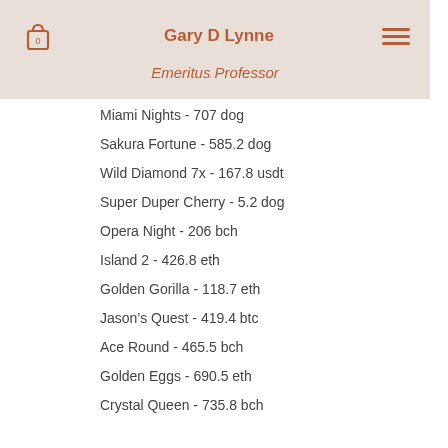Gary D Lynne
Emeritus Professor
Miami Nights - 707 dog
Sakura Fortune - 585.2 dog
Wild Diamond 7x - 167.8 usdt
Super Duper Cherry - 5.2 dog
Opera Night - 206 bch
Island 2 - 426.8 eth
Golden Gorilla - 118.7 eth
Jason’s Quest - 419.4 btc
Ace Round - 465.5 bch
Golden Eggs - 690.5 eth
Crystal Queen - 735.8 bch
Best Slots Games:
22Bet Casino Candy Dreams
Bitcoin Penguin Casino Bridesmaids
CryptoGames Lucky Haunter
Oshi Casino Frost Dragon